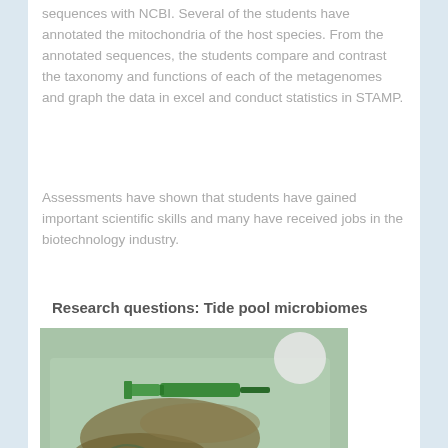sequences with NCBI. Several of the students have annotated the mitochondria of the host species. From the annotated sequences, the students compare and contrast the taxonomy and functions of each of the metagenomes and graph the data in excel and conduct statistics in STAMP.
Assessments have shown that students have gained important scientific skills and many have received jobs in the biotechnology industry.
Research questions: Tide pool microbiomes
[Figure (photo): Photo of a green plastic container with a syringe/pipette and tangled brown material (possibly seaweed or biological sample), related to tide pool microbiome research equipment.]